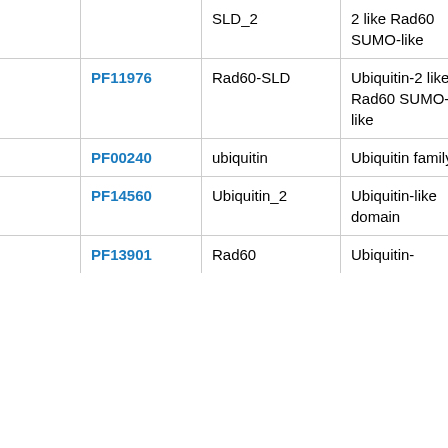|  | ID | Name | Description | Value |
| --- | --- | --- | --- | --- |
|  |  | SLD_2 | 2 like Rad60 SUMO-like | 01 |
|  | PF11976 | Rad60-SLD | Ubiquitin-2 like Rad60 SUMO-like | 1.6 15 |
|  | PF00240 | ubiquitin | Ubiquitin family | 1.5 32 |
|  | PF14560 | Ubiquitin_2 | Ubiquitin-like domain | 9.2 04 |
|  | PF13901 | Rad60 | Ubiquitin- | 1.4 |